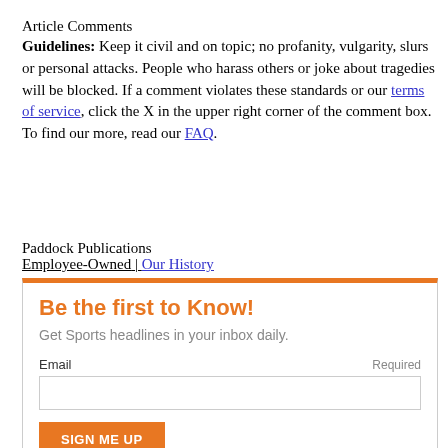Article Comments
Guidelines: Keep it civil and on topic; no profanity, vulgarity, slurs or personal attacks. People who harass others or joke about tragedies will be blocked. If a comment violates these standards or our terms of service, click the X in the upper right corner of the comment box. To find our more, read our FAQ.
Paddock Publications
Employee-Owned | Our History
Be the first to Know!
Get Sports headlines in your inbox daily.
Email  Required
SIGN ME UP